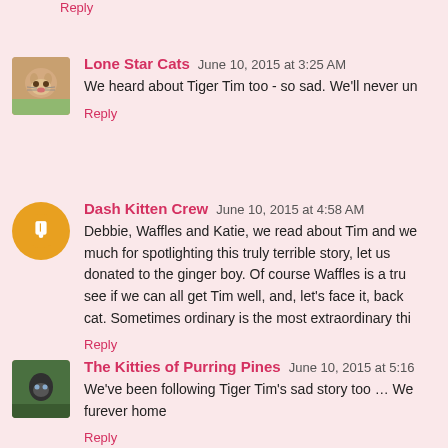Reply
Lone Star Cats  June 10, 2015 at 3:25 AM
We heard about Tiger Tim too - so sad. We'll never un
Reply
Dash Kitten Crew  June 10, 2015 at 4:58 AM
Debbie, Waffles and Katie, we read about Tim and we much for spotlighting this truly terrible story, let us donated to the ginger boy. Of course Waffles is a tru see if we can all get Tim well, and, let's face it, back cat. Sometimes ordinary is the most extraordinary thi
Reply
The Kitties of Purring Pines  June 10, 2015 at 5:16
We've been following Tiger Tim's sad story too … We furever home
Reply